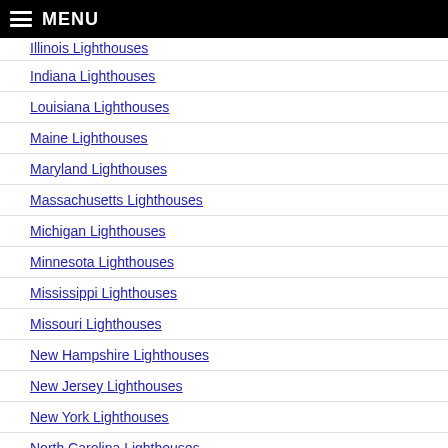MENU
Illinois Lighthouses
Indiana Lighthouses
Louisiana Lighthouses
Maine Lighthouses
Maryland Lighthouses
Massachusetts Lighthouses
Michigan Lighthouses
Minnesota Lighthouses
Mississippi Lighthouses
Missouri Lighthouses
New Hampshire Lighthouses
New Jersey Lighthouses
New York Lighthouses
North Carolina Lighthouses
Ohio Lighthouses